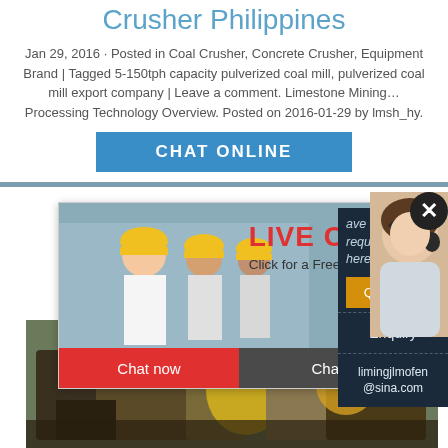Crusher Philippines
Jan 29, 2016 · Posted in Coal Crusher, Concrete Crusher, Equipment Brand | Tagged 5-150tph capacity pulverized coal mill, pulverized coal mill export company | Leave a comment. Limestone Mining… Processing Technology Overview. Posted on 2016-01-29 by lmsh_hy.
[Figure (screenshot): Blue CHAT ONLINE button]
[Figure (screenshot): Live chat popup with workers in hard hats, LIVE CHAT heading in red, Click for a Free Consultation text, Chat now and Chat later buttons, and a customer service representative photo on the right]
[Figure (photo): Industrial crusher/mining equipment photo in background]
ave any requests, click here.
Quotation
Enquiry
limingjlmofen@sina.com